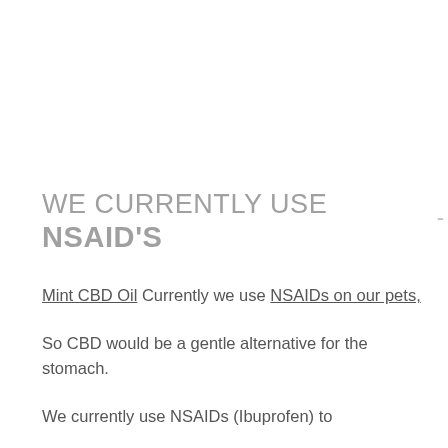WE CURRENTLY USE NSAID'S
Mint CBD Oil Currently we use NSAIDs on our pets,
So CBD would be a gentle alternative for the stomach.
We currently use NSAIDs (Ibuprofen) to